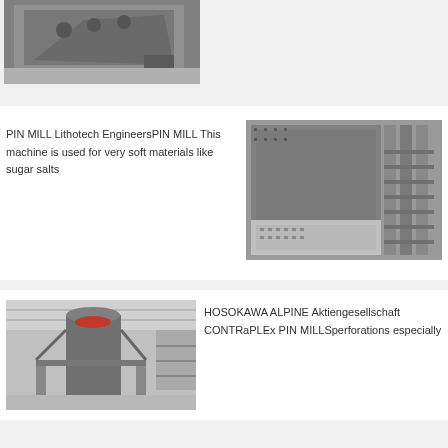[Figure (photo): Industrial machine component - large metal plate/panel, dark grey, photographed at angle in outdoor/industrial setting]
[Figure (photo): Pin mill machine panel with perforated plates and rollers, industrial equipment, black and white tones]
PIN MILL Lithotech EngineersPIN MILL This machine is used for very soft materials like sugar salts
[Figure (photo): Large industrial mill machine installed in a factory/warehouse, tall cylindrical structure with support framework]
HOSOKAWA ALPINE Aktiengesellschaft CONTRaPLEx PIN MILLSperforations especially